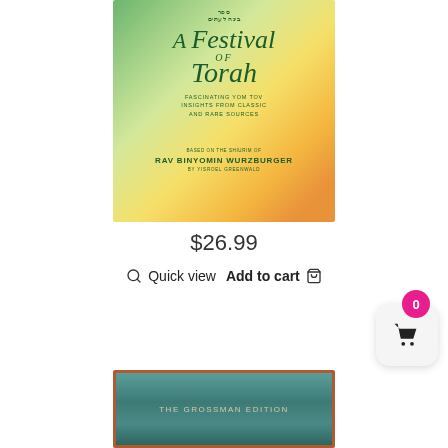[Figure (illustration): Book cover of 'A Festival of Torah' with green-to-orange gradient background, decorative Jewish holiday symbols, title in dark green italic script, subtitle 'Fascinating Yom Tov Insights from Classic and Rare Sources', author credit 'Based on the Shiurim of Rav Binyomin Wurzburger, by Yisroel Greenwald']
$26.99
Quick view
Add to cart
[Figure (illustration): Book cover with teal/dark green background and brown border frame, text 'The Grossman Edition' in beige/golden letters]